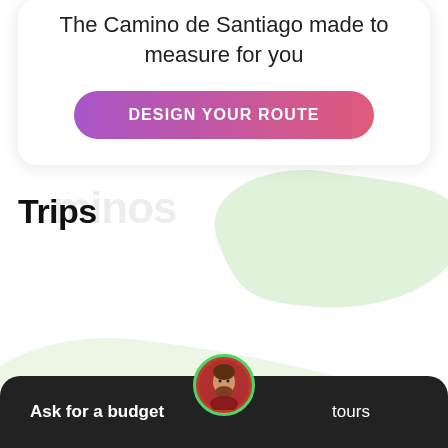The Camino de Santiago made to measure for you
DESIGN YOUR ROUTE
Trips
[Figure (illustration): Light green organic blob shape in upper right area of page]
[Figure (illustration): Light green organic blob shape in lower left area of page]
[Figure (photo): Circular avatar photo of a man with a beard, wearing a red/maroon shirt, framed with green border]
Ask for a budget
tours